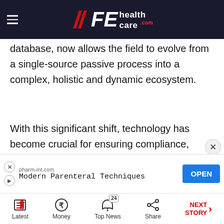FE health care .com
database, now allows the field to evolve from a single-source passive process into a complex, holistic and dynamic ecosystem.
With this significant shift, technology has become crucial for ensuring compliance, safety and monitoring of this dynamic system of safety data sources. However, there have been fewer conversations about digital transformation in pharmacovigilance, which can be attributed to two key reasons – the field is highly
[Figure (screenshot): Advertisement banner: pharm-int.com Modern Parenteral Techniques with OPEN button]
Latest | Money | Top News (24) | Share | NEXT STORY